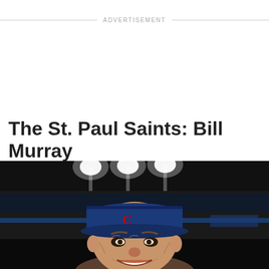ADVERTISEMENT
The St. Paul Saints: Bill Murray
[Figure (photo): Bill Murray wearing a blue Chicago Cubs baseball cap, smiling at a night baseball game with stadium lights visible in the background.]